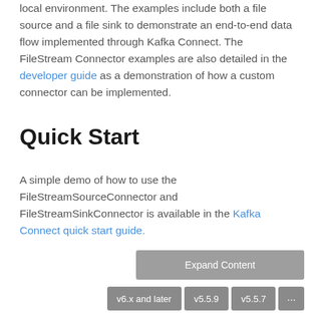local environment. The examples include both a file source and a file sink to demonstrate an end-to-end data flow implemented through Kafka Connect. The FileStream Connector examples are also detailed in the developer guide as a demonstration of how a custom connector can be implemented.
Quick Start
A simple demo of how to use the FileStreamSourceConnector and FileStreamSinkConnector is available in the Kafka Connect quick start guide.